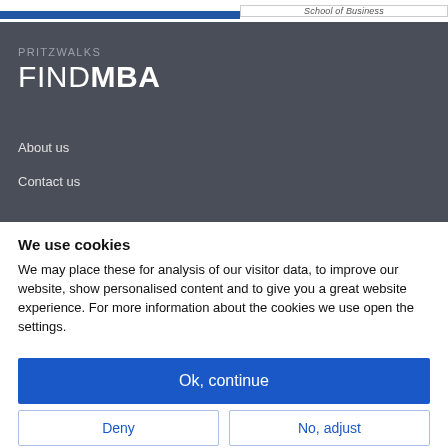School of Business
[Figure (logo): PRITZWALKS FINDMBA logo on dark grey navigation panel]
About us
Contact us
We use cookies
We may place these for analysis of our visitor data, to improve our website, show personalised content and to give you a great website experience. For more information about the cookies we use open the settings.
Ok, continue
Deny
No, adjust